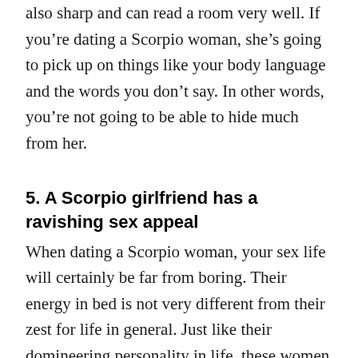also sharp and can read a room very well. If you're dating a Scorpio woman, she's going to pick up on things like your body language and the words you don't say. In other words, you're not going to be able to hide much from her.
5. A Scorpio girlfriend has a ravishing sex appeal
When dating a Scorpio woman, your sex life will certainly be far from boring. Their energy in bed is not very different from their zest for life in general. Just like their domineering personality in life, these women also love to take the lead in bed. They are even known as the sex goddesses